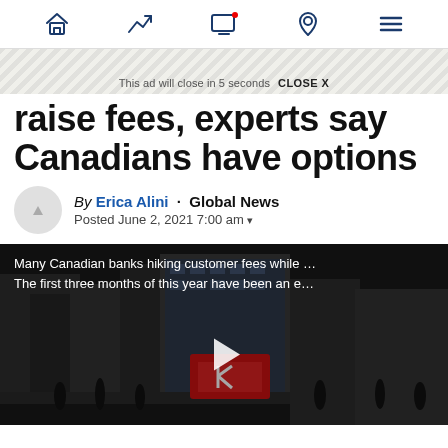Navigation bar with home, trending, screen, location, and menu icons
This ad will close in 5 seconds  CLOSE X
raise fees, experts say Canadians have options
By Erica Alini · Global News
Posted June 2, 2021 7:00 am
[Figure (screenshot): Video thumbnail showing a bank building street scene with overlay text: 'Many Canadian banks hiking customer fees while ... The first three months of this year have been an e...' and a white play button in the center]